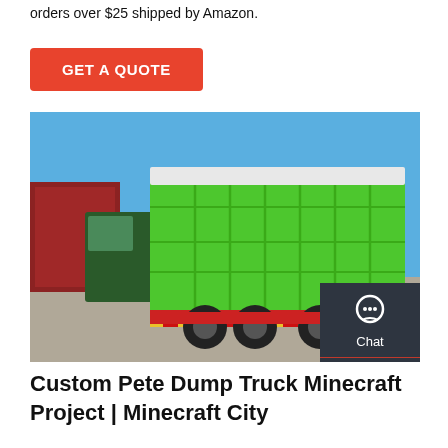orders over $25 shipped by Amazon.
GET A QUOTE
[Figure (photo): A green dump truck photographed from the rear-left angle, parked on a paved surface with a blue sky background. Red shipping containers and trees are visible in the background. The truck has a large green dump bed with a white tarp cover. A dark sidebar overlay on the right edge shows Chat, Email, and Contact icons.]
Custom Pete Dump Truck Minecraft Project | Minecraft City